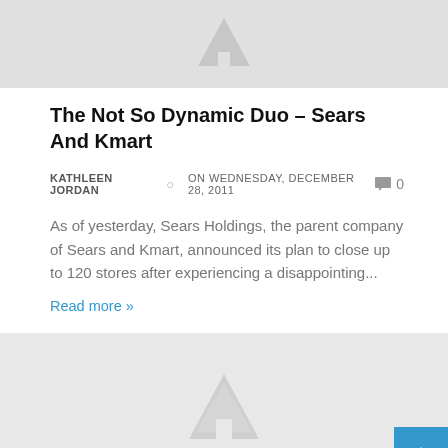[Figure (illustration): Placeholder image thumbnail at top of page, grey background with grey image icon]
The Not So Dynamic Duo – Sears And Kmart
KATHLEEN JORDAN   ⊙  ON WEDNESDAY, DECEMBER 28, 2011   💬 0
As of yesterday, Sears Holdings, the parent company of Sears and Kmart, announced its plan to close up to 120 stores after experiencing a disappointing...
Read more »
[Figure (illustration): Placeholder image thumbnail at bottom of page, grey background with grey image icon]